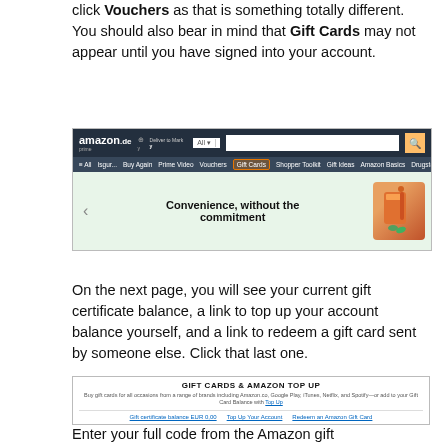click Vouchers as that is something totally different. You should also bear in mind that Gift Cards may not appear until you have signed into your account.
[Figure (screenshot): Amazon.de website screenshot showing the navigation bar with 'Gift Cards' tab highlighted in an orange/red box, and a promotional banner reading 'Convenience, without the commitment']
On the next page, you will see your current gift certificate balance, a link to top up your account balance yourself, and a link to redeem a gift card sent by someone else. Click that last one.
[Figure (screenshot): Amazon Gift Cards & Amazon Top Up page showing 'GIFT CARDS & AMAZON TOP UP' heading, subtitle text, and three links: 'Gift certificate balance EUR 0,00', 'Top Up Your Account', and 'Redeem an Amazon Gift Card']
Enter your full code from the Amazon gift